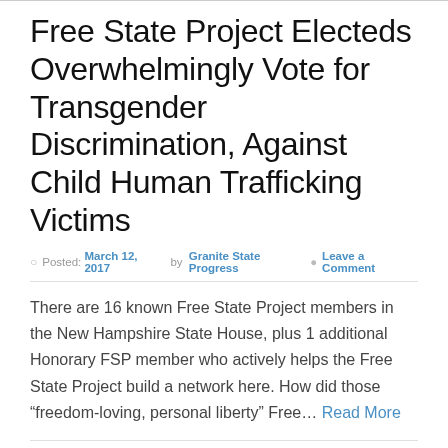Free State Project Electeds Overwhelmingly Vote for Transgender Discrimination, Against Child Human Trafficking Victims
Posted: March 12, 2017 by Granite State Progress   Leave a Comment
There are 16 known Free State Project members in the New Hampshire State House, plus 1 additional Honorary FSP member who actively helps the Free State Project build a network here. How did those “freedom-loving, personal liberty” Free... Read More
Category: Uncategorized   Tags: Free State Project, State House